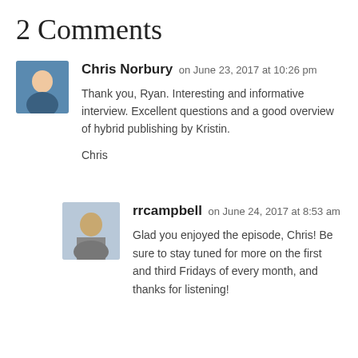2 Comments
Chris Norbury on June 23, 2017 at 10:26 pm
Thank you, Ryan. Interesting and informative interview. Excellent questions and a good overview of hybrid publishing by Kristin.

Chris
rrcampbell on June 24, 2017 at 8:53 am
Glad you enjoyed the episode, Chris! Be sure to stay tuned for more on the first and third Fridays of every month, and thanks for listening!